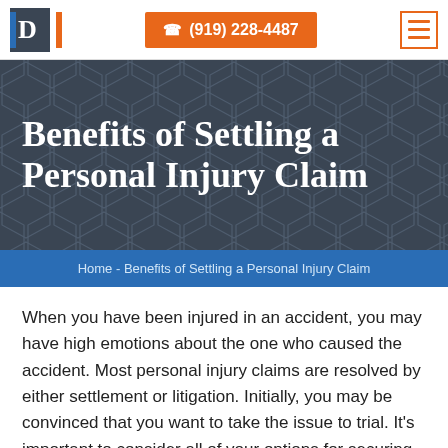D logo | ☎ (919) 228-4487 | menu icon
Benefits of Settling a Personal Injury Claim
Home - Benefits of Settling a Personal Injury Claim
When you have been injured in an accident, you may have high emotions about the one who caused the accident. Most personal injury claims are resolved by either settlement or litigation. Initially, you may be convinced that you want to take the issue to trial. It's important to consider all of your options for securing the